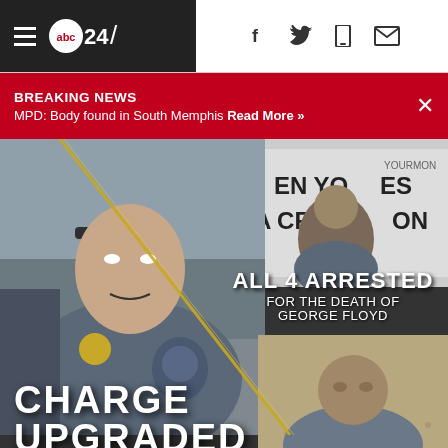abc 24/ (navigation bar with hamburger menu and social icons)
BREAKING NEWS
MPD: Body found in South Memphis Read More »
[Figure (photo): News website screenshot showing four police officers in a photo collage with text overlay: 'ALL 4 ARRESTED FOR THE DEATH OF GEORGE FLOYD' and 'CHARGE UPGRADED' on ABC24 breaking news page]
ALL 4 ARRESTED FOR THE DEATH OF GEORGE FLOYD
CHARGE UPGRADED